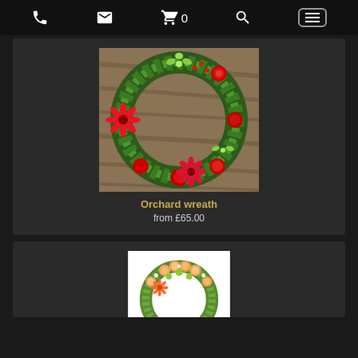Navigation bar with phone, email, cart (0), search, and menu icons
[Figure (photo): Orchard wreath — circular floral wreath with red gerberas, red roses, green cymbidium orchids, and mixed greenery on a wooden background]
Orchard wreath
from £65.00
[Figure (photo): Second floral wreath — circular arrangement with peach/orange roses, orange gerberas, lime green flowers, and white filler flowers on a white background (partially visible)]